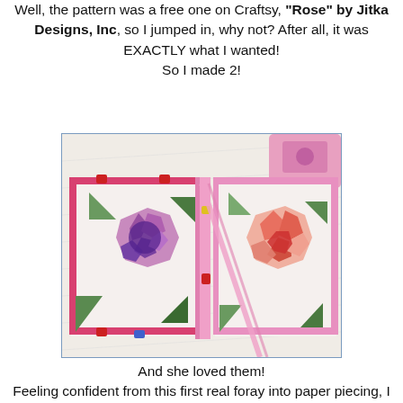Well, the pattern was a free one on Craftsy, "Rose" by Jitka Designs, Inc, so I jumped in, why not? After all, it was EXACTLY what I wanted!
So I made 2!
[Figure (photo): Two rose quilt blocks / pot holders held together by pink binding strips and colorful clips (red, blue, yellow), lying on a white quilted surface with a pink sewing machine partially visible in the upper right. Left block has purple/lavender rose; right block has coral/red rose. Both on white background fabric with green accent triangles.]
And she loved them!
Feeling confident from this first real foray into paper piecing, I thought I might actually be able to tackle my next proposed project, an ambitious one for such a beginner!